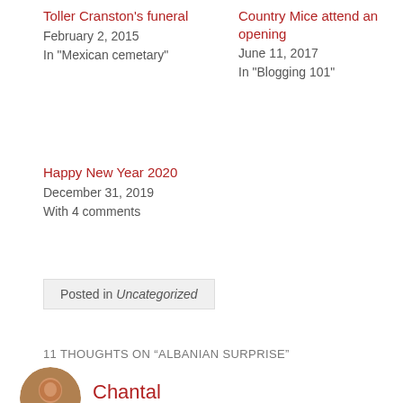Toller Cranston's funeral
February 2, 2015
In "Mexican cemetary"
Country Mice attend an opening
June 11, 2017
In "Blogging 101"
Happy New Year 2020
December 31, 2019
With 4 comments
Posted in Uncategorized
11 THOUGHTS ON “ALBANIAN SURPRISE”
Chantal
— APRIL 5, 2016 AT 2:45 AM
What a lovely post. I have never been to an opera but has certainly given my something to look forward too. Those big vocals in any language are just magical. Thanks for sharing:)